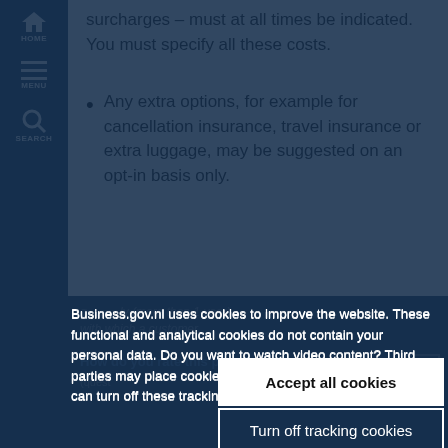surcharges – must at all times be indicated. You must specify all these costs.
Any extra options, for example for cancellation insurance, travel insurance or extra luggage, may be suggested on an opt-in basis only.
Business.gov.nl uses cookies to improve the website. These functional and analytical cookies do not contain your personal data. Do you want to watch video content? Third parties may place cookies to track your online behaviour. You can turn off these tracking cookies.
Accept all cookies
Turn off tracking cookies